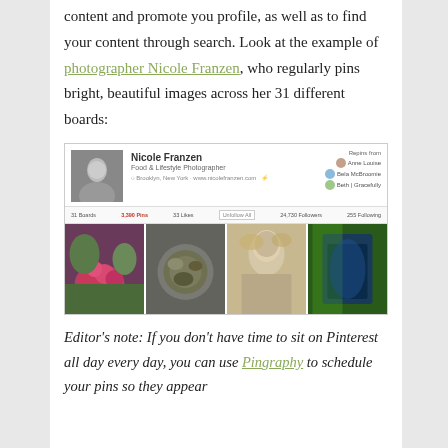content and promote you profile, as well as to find your content through search. Look at the example of photographer Nicole Franzen, who regularly pins bright, beautiful images across her 31 different boards:
[Figure (screenshot): Screenshot of Nicole Franzen's Pinterest profile page showing her profile photo, name 'Nicole Franzen', subtitle 'Food & Lifestyle Photographer', stats bar with boards/pins/likes/followers counts, and a grid of 4 photos including flowers, food, portrait, and fashion.]
Editor's note: If you don't have time to sit on Pinterest all day every day, you can use Pingraphy to schedule your pins so they appear